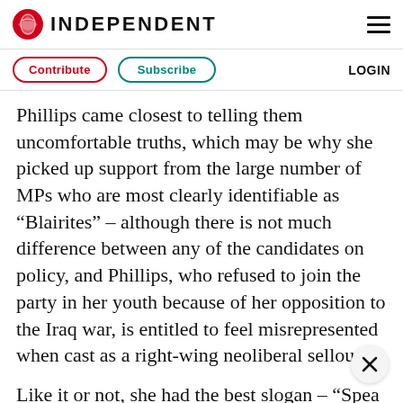INDEPENDENT
Contribute   Subscribe   LOGIN
Phillips came closest to telling them uncomfortable truths, which may be why she picked up support from the large number of MPs who are most clearly identifiable as “Blairites” – although there is not much difference between any of the candidates on policy, and Phillips, who refused to join the party in her youth because of her opposition to the Iraq war, is entitled to feel misrepresented when cast as a right-wing neoliberal sellout.
Like it or not, she had the best slogan – “Spea